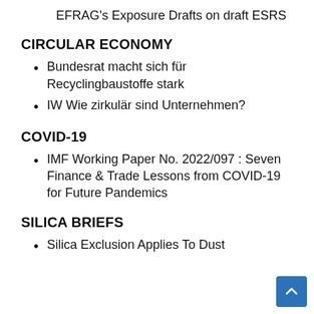EFRAG's Exposure Drafts on draft ESRS
CIRCULAR ECONOMY
Bundesrat macht sich für Recyclingbaustoffe stark
IW Wie zirkulär sind Unternehmen?
COVID-19
IMF Working Paper No. 2022/097 : Seven Finance & Trade Lessons from COVID-19 for Future Pandemics
SILICA BRIEFS
Silica Exclusion Applies To Dust